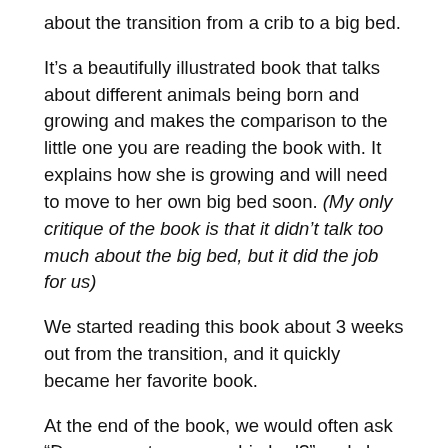about the transition from a crib to a big bed.
It’s a beautifully illustrated book that talks about different animals being born and growing and makes the comparison to the little one you are reading the book with. It explains how she is growing and will need to move to her own big bed soon. (My only critique of the book is that it didn’t talk too much about the big bed, but it did the job for us)
We started reading this book about 3 weeks out from the transition, and it quickly became her favorite book.
At the end of the book, we would often ask “Do you want your own big bed?” and she would excitedly say “Yeaaaah!” — so we felt pretty confident she would do well when we made the switch.
Having a book to help talk about the transition into a big...